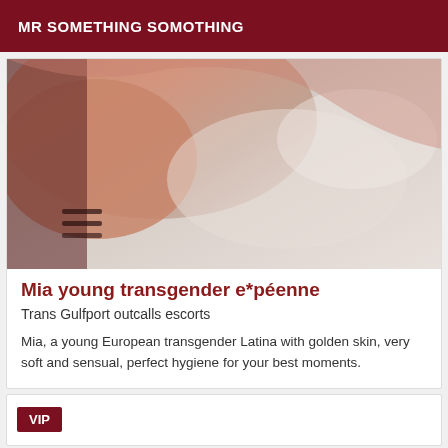MR SOMETHING SOMOTHING
[Figure (photo): Close-up photo showing skin, partial torso image with light/shadow, warm and pinkish-beige tones.]
Mia young transgender e*péenne
Trans Gulfport outcalls escorts
Mia, a young European transgender Latina with golden skin, very soft and sensual, perfect hygiene for your best moments.
VIP